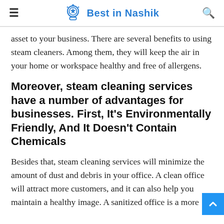Best in Nashik
asset to your business. There are several benefits to using steam cleaners. Among them, they will keep the air in your home or workspace healthy and free of allergens.
Moreover, steam cleaning services have a number of advantages for businesses. First, It's Environmentally Friendly, And It Doesn't Contain Chemicals
Besides that, steam cleaning services will minimize the amount of dust and debris in your office. A clean office will attract more customers, and it can also help you maintain a healthy image. A sanitized office is a more...